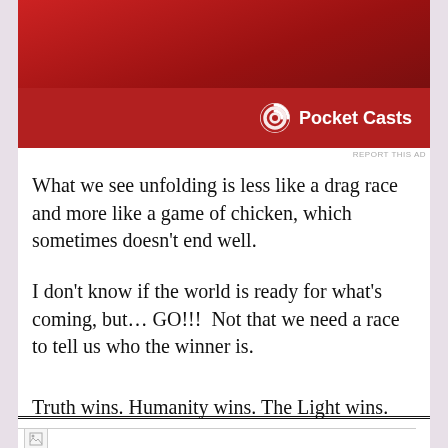[Figure (illustration): Pocket Casts advertisement banner with red gradient background and Pocket Casts logo (circular icon with headphone symbol) and bold white text 'Pocket Casts']
REPORT THIS AD
What we see unfolding is less like a drag race and more like a game of chicken, which sometimes doesn’t end well.
I don’t know if the world is ready for what’s coming, but... GO!!!  Not that we need a race to tell us who the winner is.
Truth wins. Humanity wins. The Light wins. Always.